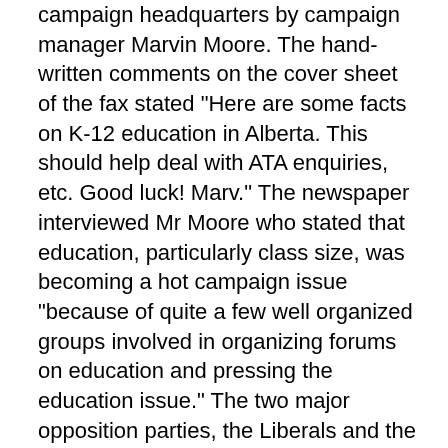campaign headquarters by campaign manager Marvin Moore. The hand-written comments on the cover sheet of the fax stated "Here are some facts on K-12 education in Alberta. This should help deal with ATA enquiries, etc. Good luck! Marv." The newspaper interviewed Mr Moore who stated that education, particularly class size, was becoming a hot campaign issue "because of quite a few well organized groups involved in organizing forums on education and pressing the education issue." The two major opposition parties, the Liberals and the New Democrats both released their education platforms and in both cases they addressed to some degree the issue of class size. The debate heated up even further when the Premier, in responding to the issue of class size during a stop in Sherwood Park [east of Edmonton], was quoted as stating "if you are in an inner-city area or an urban municipality where there is a high mix of new students, new Canadians from other countries, it presents a difficulty. There are other situations where perhaps the class size . . . is more homogeneous or together in the same socio-